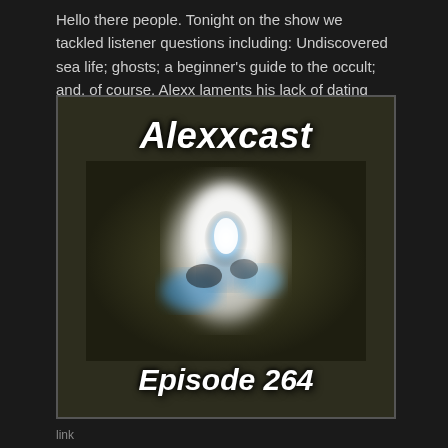Hello there people. Tonight on the show we tackled listener questions including: Undiscovered sea life; ghosts; a beginner's guide to the occult; and, of course, Alexx laments his lack of dating life.
[Figure (illustration): Podcast artwork for Alexxcast Episode 264. Dark olive/brown background with a blurry ghostly white glowing figure in the center. White bold italic text reads 'Alexxcast' at the top and 'Episode 264' at the bottom.]